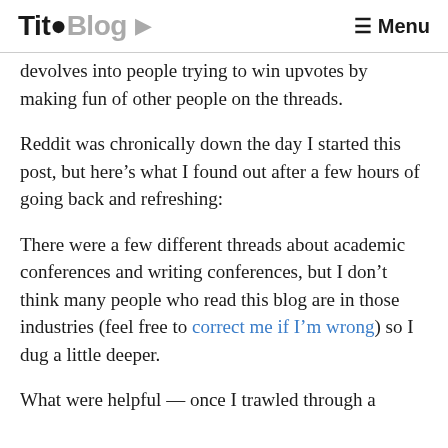Tito Blog ☰ Menu
devolves into people trying to win upvotes by making fun of other people on the threads.
Reddit was chronically down the day I started this post, but here's what I found out after a few hours of going back and refreshing:
There were a few different threads about academic conferences and writing conferences, but I don't think many people who read this blog are in those industries (feel free to correct me if I'm wrong) so I dug a little deeper.
What were helpful — once I trawled through a few more results — was the list of …